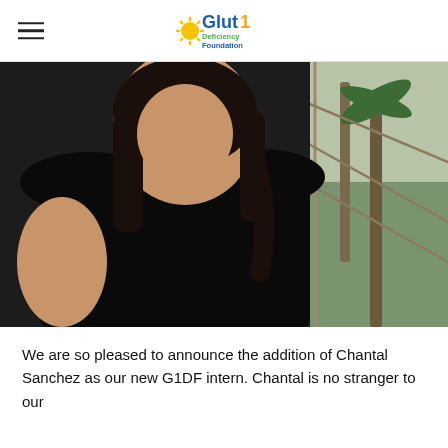Glut1 Deficiency Foundation
[Figure (photo): A woman with long dark hair wearing a black short-sleeve t-shirt, photographed from the chest up against an outdoor background with palm trees and greenery]
We are so pleased to announce the addition of Chantal Sanchez as our new G1DF intern. Chantal is no stranger to our